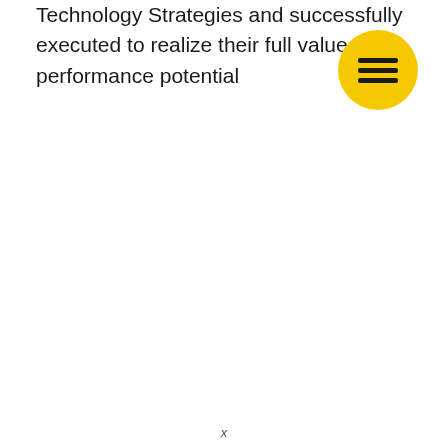Technology Strategies and successfully executed to realize their full value and performance potential
[Figure (illustration): Yellow circular menu button icon with three horizontal black lines (hamburger menu icon)]
x